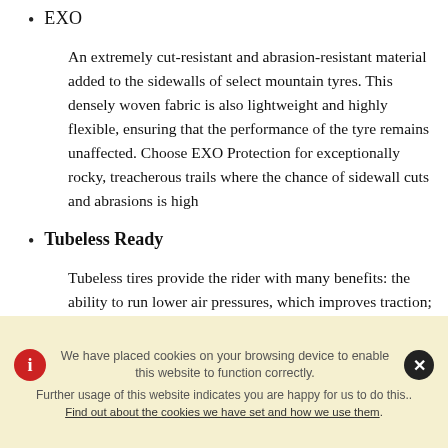EXO
An extremely cut-resistant and abrasion-resistant material added to the sidewalls of select mountain tyres. This densely woven fabric is also lightweight and highly flexible, ensuring that the performance of the tyre remains unaffected. Choose EXO Protection for exceptionally rocky, treacherous trails where the chance of sidewall cuts and abrasions is high
Tubeless Ready
Tubeless tires provide the rider with many benefits: the ability to run lower air pressures, which improves traction; lower rolling
We have placed cookies on your browsing device to enable this website to function correctly. Further usage of this website indicates you are happy for us to do this.. Find out about the cookies we have set and how we use them.